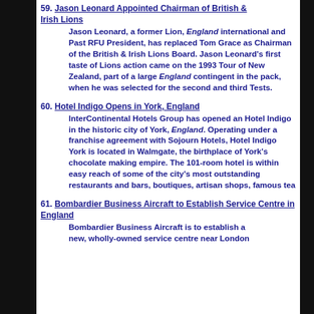59. Jason Leonard Appointed Chairman of British & Irish Lions
Jason Leonard, a former Lion, England international and Past RFU President, has replaced Tom Grace as Chairman of the British & Irish Lions Board. Jason Leonard’s first taste of Lions action came on the 1993 Tour of New Zealand, part of a large England contingent in the pack, when he was selected for the second and third Tests.
60. Hotel Indigo Opens in York, England
InterContinental Hotels Group has opened an Hotel Indigo in the historic city of York, England. Operating under a franchise agreement with Sojourn Hotels, Hotel Indigo York is located in Walmgate, the birthplace of York’s chocolate making empire. The 101-room hotel is within easy reach of some of the city’s most outstanding restaurants and bars, boutiques, artisan shops, famous tea
61. Bombardier Business Aircraft to Establish Service Centre in England
Bombardier Business Aircraft is to establish a new, wholly-owned service centre near London